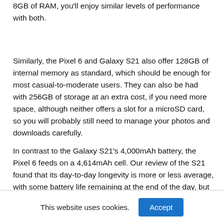8GB of RAM, you'll enjoy similar levels of performance with both.
Similarly, the Pixel 6 and Galaxy S21 also offer 128GB of internal memory as standard, which should be enough for most casual-to-moderate users. They can also be had with 256GB of storage at an extra cost, if you need more space, although neither offers a slot for a microSD card, so you will probably still need to manage your photos and downloads carefully.
In contrast to the Galaxy S21's 4,000mAh battery, the Pixel 6 feeds on a 4,614mAh cell. Our review of the S21 found that its day-to-day longevity is more or less average, with some battery life remaining at the end of the day, but not an awful lot. This leaves the Pixel in a position to take the lead.
This website uses cookies.